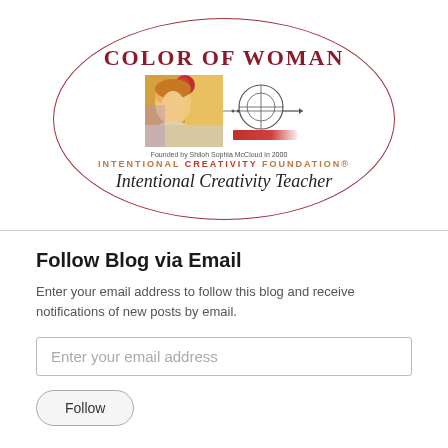[Figure (logo): Color of Woman logo — oval border containing the title 'COLOR OF WOMAN' in dark red serif text, a colorful painting of a woman's face, a circular crosshair graphic, a red gradient bar, 'Founded by Shiloh Sophia McCloud in 2000' text, 'INTENTIONAL CREATIVITY FOUNDATION®' in orange/red, and 'Intentional Creativity Teacher' in cursive script.]
Follow Blog via Email
Enter your email address to follow this blog and receive notifications of new posts by email.
Enter your email address
Follow